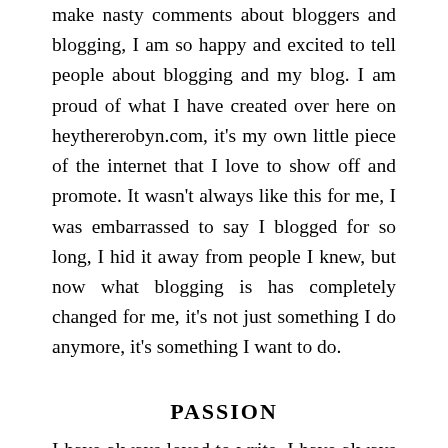make nasty comments about bloggers and blogging, I am so happy and excited to tell people about blogging and my blog. I am proud of what I have created over here on heythererobyn.com, it's my own little piece of the internet that I love to show off and promote. It wasn't always like this for me, I was embarrassed to say I blogged for so long, I hid it away from people I knew, but now what blogging is has completely changed for me, it's not just something I do anymore, it's something I want to do.
PASSION
I have always loved to write, I have always wrote little things here and there, for a while I thought I wanted to be an author, I wanted to write fiction, but I got really